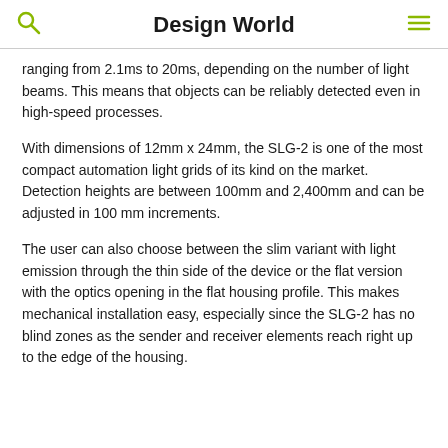Design World
ranging from 2.1ms to 20ms, depending on the number of light beams. This means that objects can be reliably detected even in high-speed processes.
With dimensions of 12mm x 24mm, the SLG-2 is one of the most compact automation light grids of its kind on the market. Detection heights are between 100mm and 2,400mm and can be adjusted in 100 mm increments.
The user can also choose between the slim variant with light emission through the thin side of the device or the flat version with the optics opening in the flat housing profile. This makes mechanical installation easy, especially since the SLG-2 has no blind zones as the sender and receiver elements reach right up to the edge of the housing.